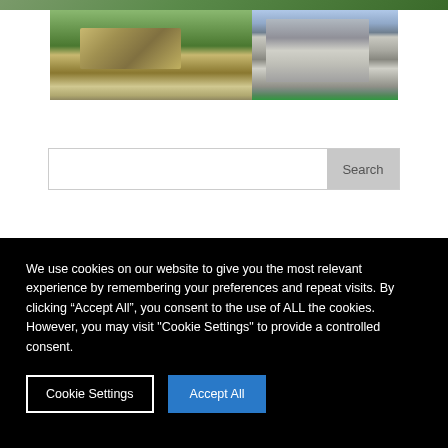[Figure (photo): Partial top image strip showing green outdoor area]
[Figure (photo): Composite photo strip showing two outdoor scenes: left panel shows a low building with green lawn and planted pots; right panel shows a tall residential apartment building with a path and trees]
Search
We use cookies on our website to give you the most relevant experience by remembering your preferences and repeat visits. By clicking “Accept All”, you consent to the use of ALL the cookies. However, you may visit "Cookie Settings" to provide a controlled consent.
Cookie Settings
Accept All